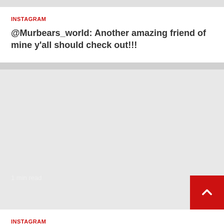INSTAGRAM
@Murbears_world: Another amazing friend of mine y'all should check out!!!
[Figure (other): Gray placeholder image block with '1 min read' text and a red scroll-to-top button in bottom right corner]
INSTAGRAM
@Murbears_world: This month is going to be 🔥🔥